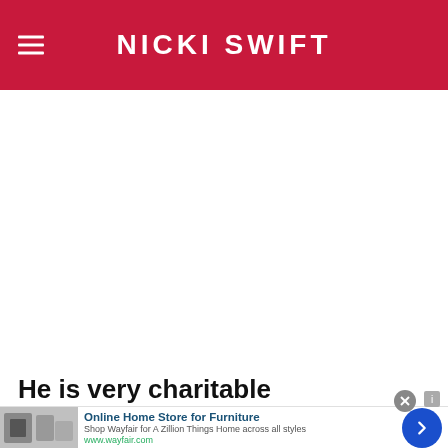NICKI SWIFT
He is very charitable
[Figure (other): Advertisement banner for Wayfair online furniture store with product image, headline 'Online Home Store for Furniture', subtitle 'Shop Wayfair for A Zillion Things Home across all styles', URL 'www.wayfair.com', and a blue arrow button]